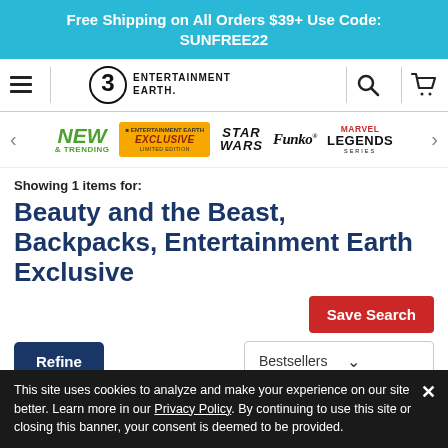Free Shipping on All Orders $39+ Use Code: SUNFREE22
[Figure (logo): Entertainment Earth logo with hamburger menu, search icon, and cart icon in navigation bar]
[Figure (infographic): Category navigation row with NEW & TRENDING, ENTERTAINMENT EARTH EXCLUSIVE LIMITED EDITION, STAR WARS, Funko, MARVEL LEGENDS SERIES logos with left and right arrows]
Showing 1 items for:
Beauty and the Beast, Backpacks, Entertainment Earth Exclusive
Save Search
Refine
Bestsellers
This site uses cookies to analyze and make your experience on our site better. Learn more in our Privacy Policy. By continuing to use this site or closing this banner, your consent is deemed to be provided.